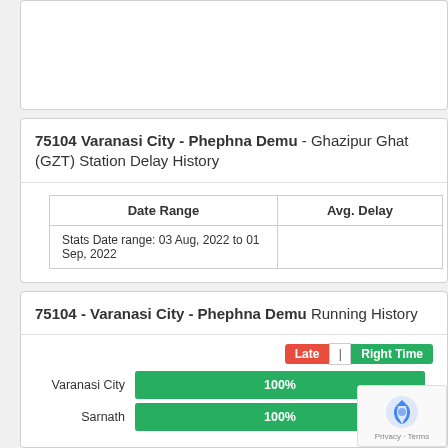75104 Varanasi City - Phephna Demu - Ghazipur Ghat (GZT) Station Delay History
| Date Range | Avg. Delay |
| --- | --- |
| Stats Date range: 03 Aug, 2022 to 01 Sep, 2022 |  |
75104 - Varanasi City - Phephna Demu Running History
[Figure (bar-chart): Running History]